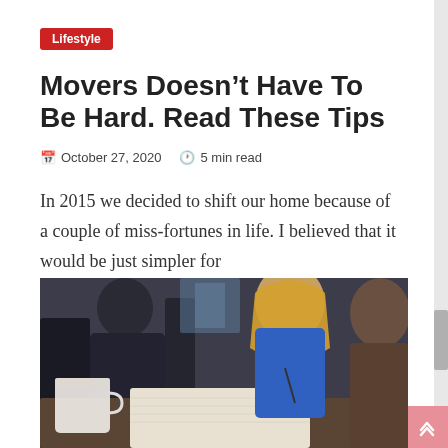Lifestyle
Movers Doesn’t Have To Be Hard. Read These Tips
October 27, 2020  5 min read
In 2015 we decided to shift our home because of a couple of miss-fortunes in life. I believed that it would be just simpler for
[Figure (photo): Two people sitting at a desk, one writing in a notebook, with a coffee mug in the foreground. Appears to be a planning or consultation scene.]